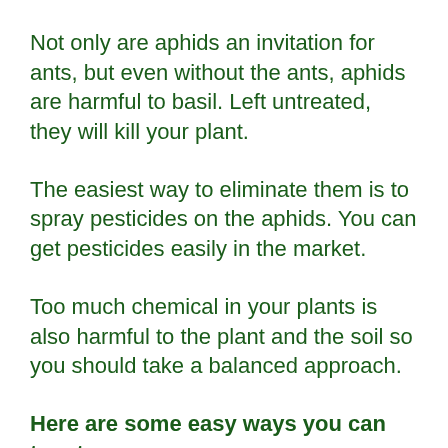Not only are aphids an invitation for ants, but even without the ants, aphids are harmful to basil. Left untreated, they will kill your plant.
The easiest way to eliminate them is to spray pesticides on the aphids. You can get pesticides easily in the market.
Too much chemical in your plants is also harmful to the plant and the soil so you should take a balanced approach.
Here are some easy ways you can try at